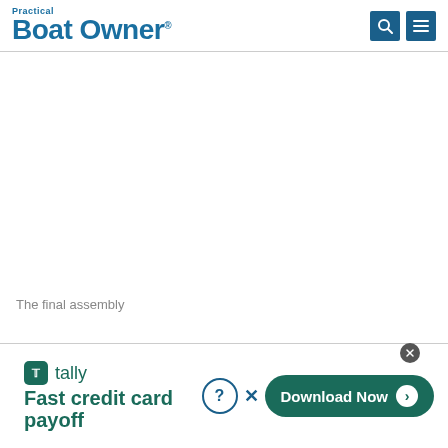Practical Boat Owner
[Figure (photo): Empty white area where a final assembly photo would appear]
The final assembly
[Figure (other): Tally advertisement banner: Fast credit card payoff, Download Now button]